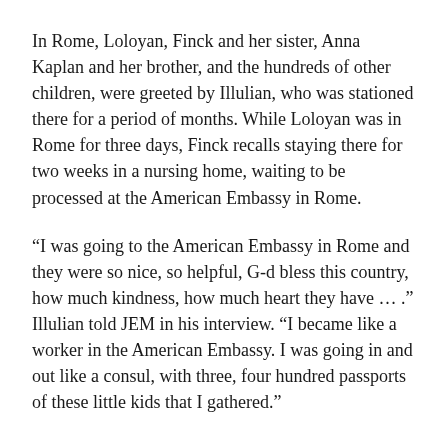In Rome, Loloyan, Finck and her sister, Anna Kaplan and her brother, and the hundreds of other children, were greeted by Illulian, who was stationed there for a period of months. While Loloyan was in Rome for three days, Finck recalls staying there for two weeks in a nursing home, waiting to be processed at the American Embassy in Rome.
“I was going to the American Embassy in Rome and they were so nice, so helpful, G-d bless this country, how much kindness, how much heart they have … .” Illulian told JEM in his interview. “I became like a worker in the American Embassy. I was going in and out like a consul, with three, four hundred passports of these little kids that I gathered.”